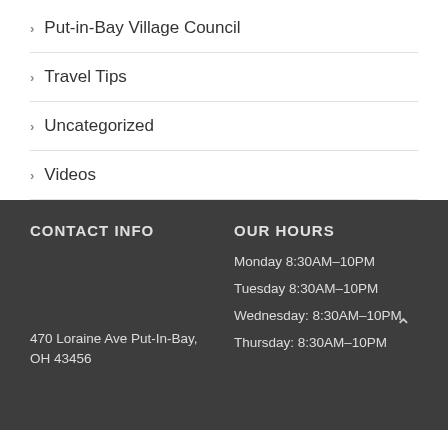Put-in-Bay Village Council
Travel Tips
Uncategorized
Videos
CONTACT INFO
OUR HOURS
470 Loraine Ave Put-In-Bay, OH 43456
Monday 8:30AM–10PM
Tuesday 8:30AM–10PM
Wednesday: 8:30AM–10PM
Thursday: 8:30AM–10PM